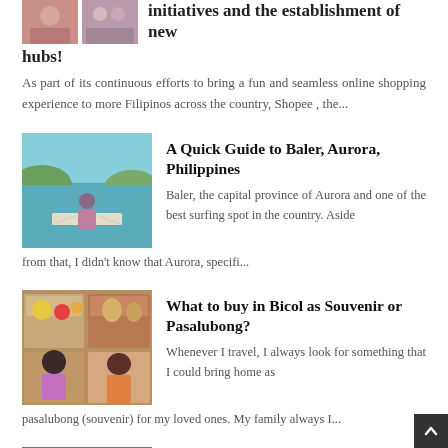initiatives and the establishment of new hubs!
As part of its continuous efforts to bring a fun and seamless online shopping experience to more Filipinos across the country, Shopee , the...
[Figure (photo): Photo of a person on a boat with turquoise water and green hills in background]
A Quick Guide to Baler, Aurora, Philippines
Baler, the capital province of Aurora and one of the best surfing spot in the country. Aside from that, I didn't know that Aurora, specifi...
[Figure (photo): Collage of market/food stall photos]
What to buy in Bicol as Souvenir or Pasalubong?
Whenever I travel, I always look for something that I could bring home as pasalubong (souvenir)  for my loved ones. My family always I...
[Figure (photo): Photo of a building exterior]
Weekly Date Night Ideas